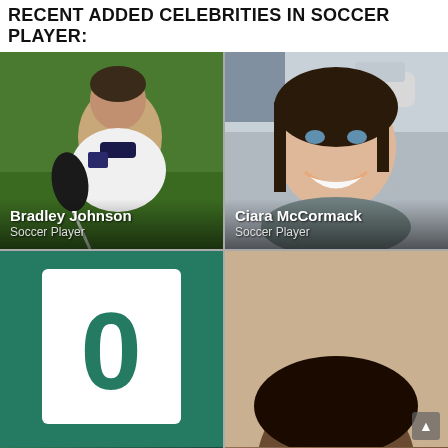RECENT ADDED CELEBRITIES IN SOCCER PLAYER:
[Figure (photo): Photo of Bradley Johnson, a soccer player wearing a white Norwich City FC jersey on a green pitch]
[Figure (photo): Photo of Ciara McCormack, a smiling woman with dark hair pulled back, selfie-style photo outdoors]
[Figure (photo): Partial image showing a white square with the number 0 on a dark teal/green background, likely a soccer jersey number]
[Figure (photo): Partial photo showing the top of a person's head with dark hair, cropped at bottom of page]